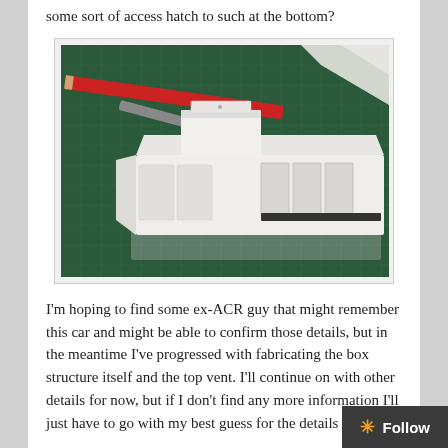some sort of access hatch to such at the bottom?
[Figure (photo): A white scale model of a train car or railcar structure placed on a green cutting mat. Various tools and paper scraps are visible in the background. The model shows a box-like structure with vents and panels on its sides.]
I'm hoping to find some ex-ACR guy that might remember this car and might be able to confirm those details, but in the meantime I've progressed with fabricating the box structure itself and the top vent. I'll continue on with other details for now, but if I don't find any more information I'll just have to go with my best guess for the details to apply